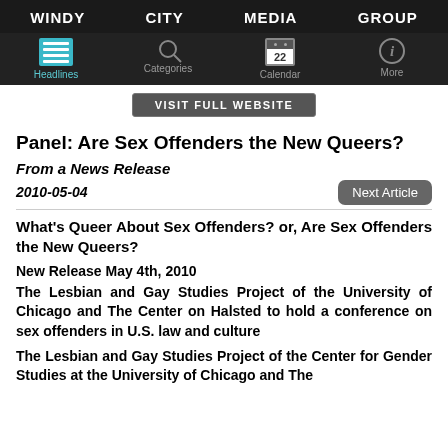WINDY  CITY  MEDIA  GROUP
[Figure (screenshot): Mobile app navigation bar with Headlines, Categories, Calendar, More tabs]
VISIT FULL WEBSITE
Panel: Are Sex Offenders the New Queers?
From a News Release
2010-05-04
Next  Article
What's Queer About Sex Offenders? or, Are Sex Offenders the New Queers?
New Release May 4th, 2010
The Lesbian and Gay Studies Project of the University of Chicago and The Center on Halsted to hold a conference on sex offenders in U.S. law and culture
The Lesbian and Gay Studies Project of the Center for Gender Studies at the University of Chicago and The